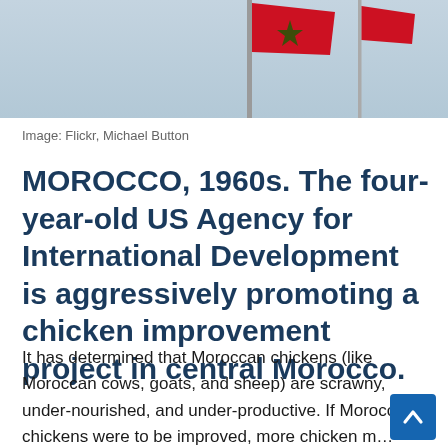[Figure (photo): Photograph of a red Moroccan flag on a flagpole against a blue-grey sky. A second smaller red flag is visible to the right.]
Image: Flickr, Michael Button
MOROCCO, 1960s. The four-year-old US Agency for International Development is aggressively promoting a chicken improvement project in central Morocco.
It has determined that Moroccan chickens (like Moroccan cows, goats, and sheep) are scrawny, under-nourished, and under-productive. If Moroccan chickens were to be improved, more chicken m… and more eggs would be available for less money;